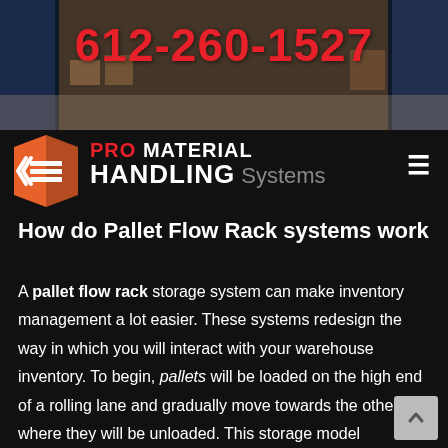[Figure (photo): Warehouse interior with pallet racks, dark background, showing storage shelving]
612-260-1527
[Figure (logo): Pro Material Handling Systems logo — orange hexagon with white arrow/bar marks, red PRO text, white MATERIAL HANDLING text, grey Systems text]
How do Pallet Flow Rack systems work
A pallet flow rack storage system can make inventory management a lot easier. These systems redesign the way in which you will interact with your warehouse inventory. To begin, pallets will be loaded on the high end of a rolling lane and gradually move towards the other end where they will be unloaded. This storage model drastically improves FIFO inventory models